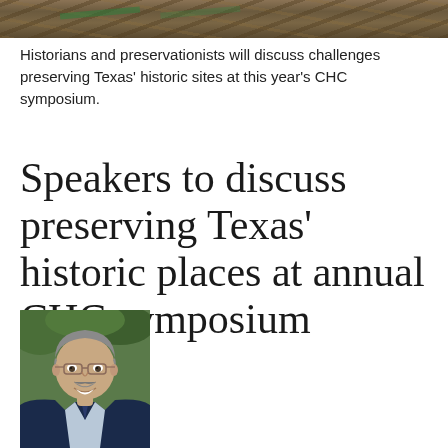[Figure (photo): Top banner image of historic wooden structure or logs, partially visible, with green foliage elements]
Historians and preservationists will discuss challenges preserving Texas' historic sites at this year's CHC symposium.
Speakers to discuss preserving Texas' historic places at annual CHC symposium
[Figure (photo): Headshot of a middle-aged man with gray hair, glasses, mustache, smiling, wearing a suit jacket]